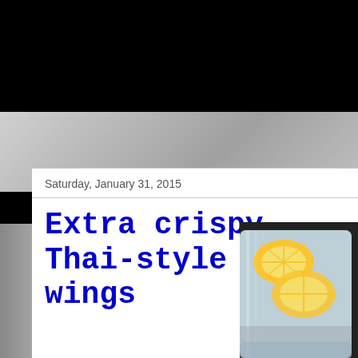Saturday, January 31, 2015
Extra crispy Thai-style wings
[Figure (photo): Photo of a glass mason jar containing lemon/citrus slices, partially visible, with a dark background on the right side]